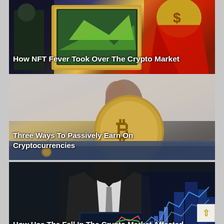[Figure (photo): Thumbnail image for article about NFT fever in crypto market. Shows NFT artwork and crypto coins with dark background.]
How NFT Fever Took Over The Crypto Market
[Figure (photo): Thumbnail image showing a hand holding a gold Bitcoin coin pulled from a denim jeans pocket.]
Three Ways To Passively Earn On Cryptocurrencies
[Figure (photo): Thumbnail image showing a businessman in a suit holding a digital tablet with cryptocurrency chart lines overlaid.]
How Has The Fall In The Crypto Market Affected Blockchain Companies?